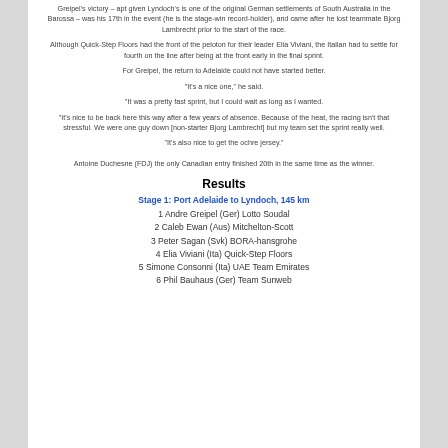Greipel's victory – apt given Lyndoch's is one of the original German settlements of South Australia in the Barossa – was his 17th in the event (he is the stage-win record-holder), and came after he lost teammate Bjorg Lambrecht prior to the start of the race.
Although Quick-Step Floors had the front of the peloton for their leader Elia Viviani, the Italian had to settle for fourth on the line after being at the front early in the final sprint.
For Greipel, the return to Adelaide could not have started better.
"It's a nice one," he said.
"It was a pretty fast sprint, but I could wait as long as I wanted.
"It's nice to be back here this way after a few years of absence. Because of the heat, the racing isn't that stressful. We were one guy down [non-starter Bjorg Lambrecht] but my team set the sprint really well.
"It's also nice to get the ochre jersey."
Antoine Duchesne (FDJ) the only Canadian entry finished 20th in the same time as the winner.
Results
Stage 1: Port Adelaide to Lyndoch, 145 km
1 Andre Greipel (Ger) Lotto Soudal
2 Caleb Ewan (Aus) Mitchelton-Scott
3 Peter Sagan (Svk) BORA-hansgrohe
4 Elia Viviani (Ita) Quick-Step Floors
5 Simone Consonni (Ita) UAE Team Emirates
6 Phil Bauhaus (Ger) Team Sunweb